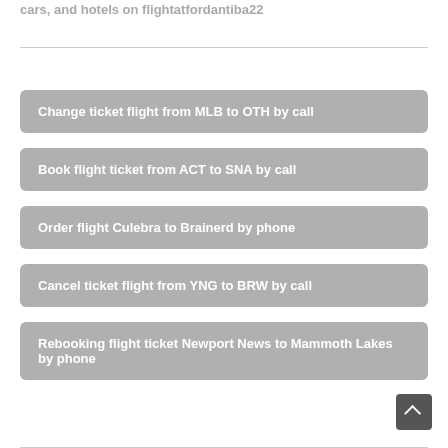cars, and hotels on flightatfordantiba22
Change ticket flight from MLB to OTH by call
Book flight ticket from ACT to SNA by call
Order flight Culebra to Brainerd by phone
Cancel ticket flight from YNG to BRW by call
Rebooking flight ticket Newport News to Mammoth Lakes by phone